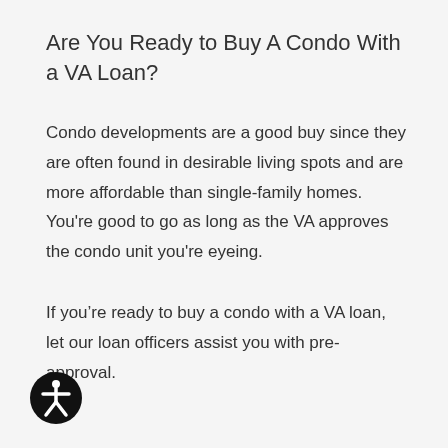Are You Ready to Buy A Condo With a VA Loan?
Condo developments are a good buy since they are often found in desirable living spots and are more affordable than single-family homes. You're good to go as long as the VA approves the condo unit you're eyeing.
If you’re ready to buy a condo with a VA loan, let our loan officers assist you with pre-approval.
[Figure (illustration): Accessibility icon: a circular black badge with a white human figure in a universal access pose (arms and legs outstretched)]